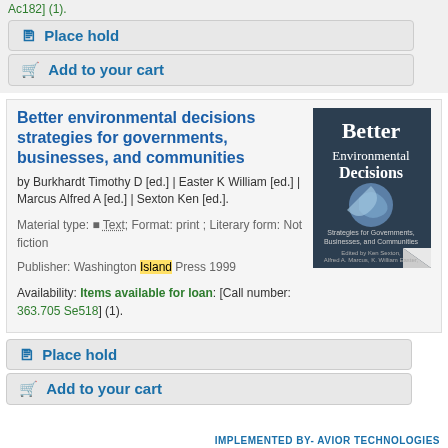Ac182] (1).
Place hold
Add to your cart
Better environmental decisions strategies for governments, businesses, and communities
by Burkhardt Timothy D [ed.] | Easter K William [ed.] | Marcus Alfred A [ed.] | Sexton Ken [ed.].
Material type: Text; Format: print ; Literary form: Not fiction
Publisher: Washington Island Press 1999
Availability: Items available for loan: [Call number: 363.705 Se518] (1).
[Figure (photo): Book cover of Better Environmental Decisions: Strategies for Governments, Businesses, and Communities]
Place hold
Add to your cart
IMPLEMENTED BY- AVIOR TECHNOLOGIES